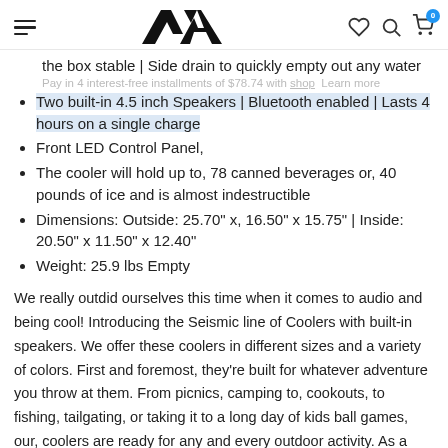SA (logo with hamburger menu, heart, search, cart icons)
the box stable | Side drain to quickly empty out any water
Two built-in 4.5 inch Speakers | Bluetooth enabled | Lasts 4 hours on a single charge
Front LED Control Panel,
The cooler will hold up to, 78 canned beverages or, 40 pounds of ice and is almost indestructible
Dimensions: Outside: 25.70" x, 16.50" x 15.75" | Inside: 20.50" x 11.50" x 12.40"
Weight: 25.9 lbs Empty
We really outdid ourselves this time when it comes to audio and being cool! Introducing the Seismic line of Coolers with built-in speakers. We offer these coolers in different sizes and a variety of colors. First and foremost, they're built for whatever adventure you throw at them. From picnics, camping to, cookouts, to fishing, tailgating, or taking it to a long day of kids ball games, our, coolers are ready for any and every outdoor activity. As a bonus,